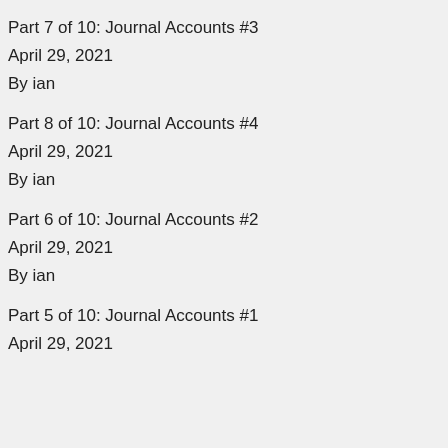Part 7 of 10: Journal Accounts #3
April 29, 2021
By ian
Part 8 of 10: Journal Accounts #4
April 29, 2021
By ian
Part 6 of 10: Journal Accounts #2
April 29, 2021
By ian
Part 5 of 10: Journal Accounts #1
April 29, 2021